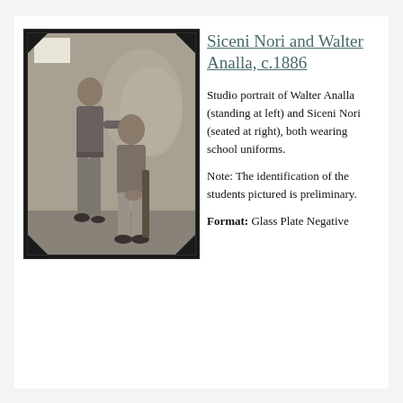[Figure (photo): Black and white studio portrait of two young men in school uniforms. Walter Analla stands at left and Siceni Nori is seated at right. The photograph has a dark border and a decorative painted backdrop.]
Siceni Nori and Walter Analla, c.1886
Studio portrait of Walter Analla (standing at left) and Siceni Nori (seated at right), both wearing school uniforms.
Note: The identification of the students pictured is preliminary.
Format: Glass Plate Negative